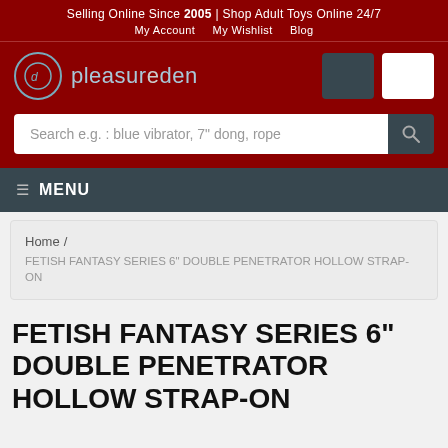Selling Online Since 2005 | Shop Adult Toys Online 24/7
My Account   My Wishlist   Blog
[Figure (logo): Pleasure Den logo — circle with 'pd' initials and text 'pleasureden' in light blue, on dark red background]
Search e.g. : blue vibrator, 7" dong, rope
☰ MENU
Home / FETISH FANTASY SERIES 6" DOUBLE PENETRATOR HOLLOW STRAP-ON
FETISH FANTASY SERIES 6" DOUBLE PENETRATOR HOLLOW STRAP-ON